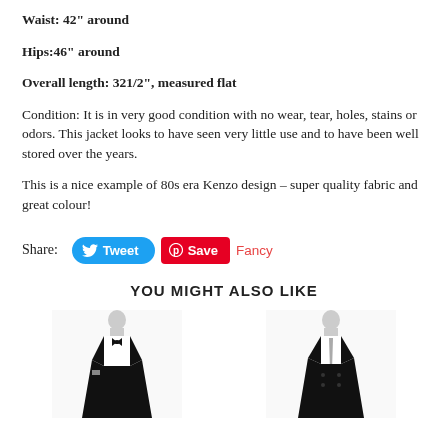Waist: 42" around
Hips:46" around
Overall length: 321/2", measured flat
Condition: It is in very good condition with no wear, tear, holes, stains or odors.  This jacket looks to have seen very little use and to have been well stored over the years.
This is a nice example of 80s era Kenzo design – super quality fabric and great colour!
Share: Tweet Save Fancy
YOU MIGHT ALSO LIKE
[Figure (photo): Two product photos side by side showing black jackets on mannequins]
[Figure (photo): Black double-breasted jacket on mannequin]